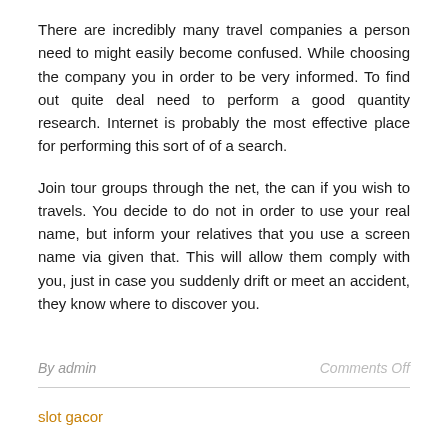There are incredibly many travel companies a person need to might easily become confused. While choosing the company you in order to be very informed. To find out quite deal need to perform a good quantity research. Internet is probably the most effective place for performing this sort of of a search.
Join tour groups through the net, the can if you wish to travels. You decide to do not in order to use your real name, but inform your relatives that you use a screen name via given that. This will allow them comply with you, just in case you suddenly drift or meet an accident, they know where to discover you.
By admin   Comments Off
slot gacor